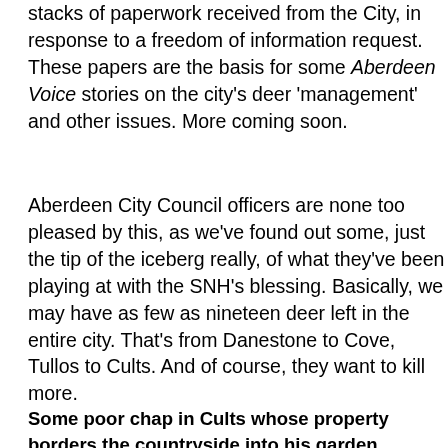stacks of paperwork received from the City, in response to a freedom of information request. These papers are the basis for some Aberdeen Voice stories on the city's deer 'management' and other issues. More coming soon.
Aberdeen City Council officers are none too pleased by this, as we've found out some, just the tip of the iceberg really, of what they've been playing at with the SNH's blessing. Basically, we may have as few as nineteen deer left in the entire city. That's from Danestone to Cove, Tullos to Cults. And of course, they want to kill more.
Some poor chap in Cults whose property borders the countryside into his garden, depositing ticks and nibbling at his little courge